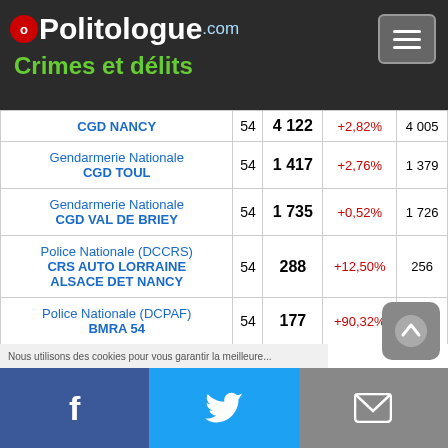Politologue.com — Crimes et délits
| Organisation | Dept | Total | Variation | Précédent |
| --- | --- | --- | --- | --- |
| Gendarmerie Nationale CGD NANCY | 54 | 4 122 | +2,82% | 4 005 |
| Gendarmerie Nationale CGD TOUL | 54 | 1 417 | +2,76% | 1 379 |
| Gendarmerie Nationale CGD VAL DE BRIEY | 54 | 1 735 | +0,52% | 1 726 |
| Police Nationale (DCCRS) CRS AUTO LORRAINE ALSACE DET NANCY | 54 | 288 | +12,50% | 256 |
| Police Nationale (DCPAF) BMRA 54 | 54 | 177 | +90,32% | 93 |
| Police Nationale (DCPAF) DDPAF MEURTHE ET MOSELLE 54 | 54 | 0 |  |  |